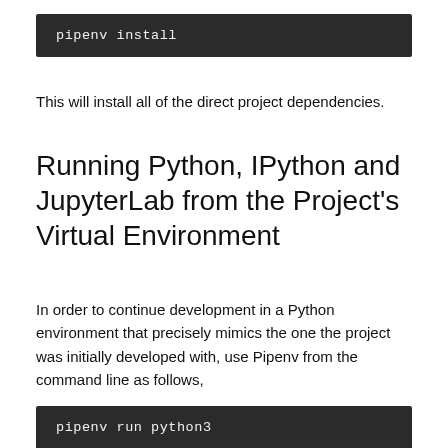pipenv install
This will install all of the direct project dependencies.
Running Python, IPython and JupyterLab from the Project's Virtual Environment
In order to continue development in a Python environment that precisely mimics the one the project was initially developed with, use Pipenv from the command line as follows,
pipenv run python3